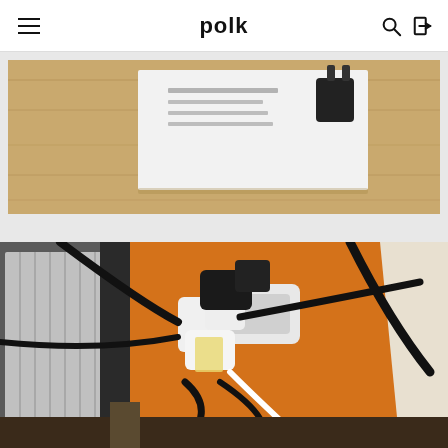polk
[Figure (photo): Photo of a power adapter/charger with a white card showing text, placed on a wooden surface]
[Figure (photo): Photo of multiple power adapters and extension cords plugged into a wall outlet, tangled cables near a radiator on an orange wall]